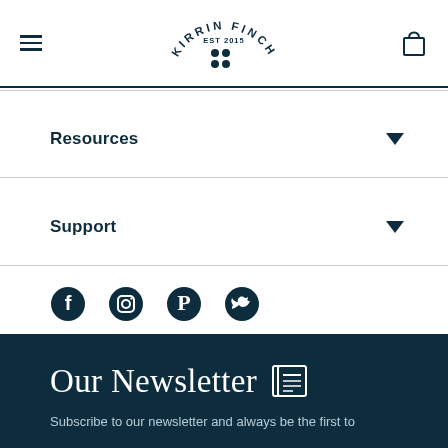[Figure (logo): Kirrin Finch EST 2015 circular logo with four dots in the center]
Resources
Support
[Figure (illustration): Social media icons: Facebook, Instagram, Pinterest, Twitter]
Our Newsletter
Subscribe to our newsletter and always be the first to